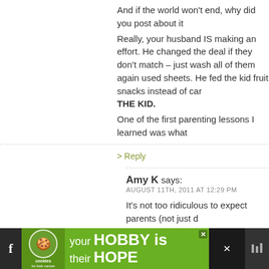And if the world won't end, why did you post about it
Really, your husband IS making an effort. He changed the sheets. He fed the kid fruit snacks instead of carrots. THE KID.
One of the first parenting lessons I learned was what
> Reply
Amy K says: AUGUST 11TH, 2011 AT 12:29 PM
It's not too ridiculous to expect parents (not just dads) to feed their kids real food most of the time instead of junk, or to remember to bathe them periodically and give them their vitamins, or to not wash their whites and colored clothes together, is it? I like to give credit where credit is due, but we can't always pretend that doing things well and doing them half-assedly are the same. Sometimes it doesn't matter, but sometimes it does.
[Figure (other): Advertisement banner at bottom: cookies for kids cancer charity ad with 'your HOBBY is their HOPE' tagline on green background]